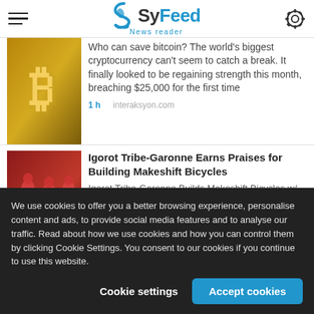SyFeed News reader
Who can save bitcoin? The world's biggest cryptocurrency can't seem to catch a break. It finally looked to be regaining strength this month, breaching $25,000 for the first time
1 h    interaksyon.com
Igorot Tribe-Garonne Earns Praises for Building Makeshift Bicycles
Igorot Tribe-Garonne Builds Makeshift Bicycles w/ Unique Designs The Igorot Tribe-Garonne earned praises and admiration online for
We use cookies to offer you a better browsing experience, personalise content and ads, to provide social media features and to analyse our traffic. Read about how we use cookies and how you can control them by clicking Cookie Settings. You consent to our cookies if you continue to use this website.